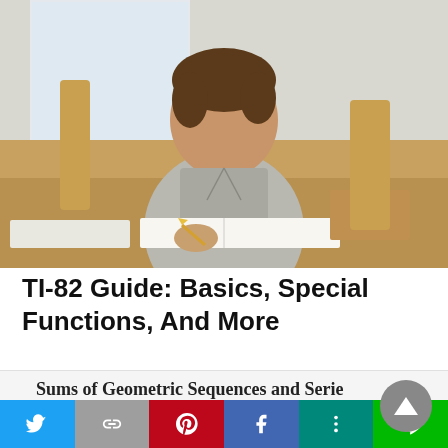[Figure (photo): Young man in grey shirt writing in a notebook at a classroom desk, with other desks visible in the background and a window with natural light]
TI-82 Guide: Basics, Special Functions, And More
[Figure (screenshot): Preview section showing 'Sums of Geometric Sequences and Series' heading and 'Sum of finite geometric sequence:' subheading on a light background]
Share buttons: Twitter, Link, Pinterest, Facebook, More, LINE